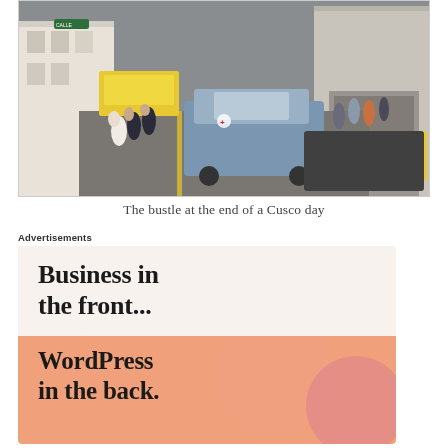[Figure (photo): A busy cobblestone street scene in Cusco, Peru at end of day. Cars including a blue Toyota sedan are on the road, pedestrians walking on sidewalks, white colonial buildings on both sides, a yellow bus visible in the background.]
The bustle at the end of a Cusco day
Advertisements
[Figure (infographic): Advertisement with two sections. Top section has light beige background with bold text 'Business in the front...' in dark serif font. Bottom section has orange/salmon background with decorative circles and bold text 'WordPress in the back.' in dark serif font.]